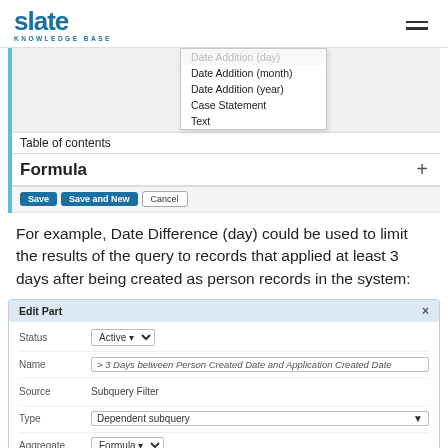slate KNOWLEDGE BASE
[Figure (screenshot): Screenshot of a Slate Knowledge Base UI showing a dropdown menu with options: Date Addition (day), Date Addition (month), Date Addition (year), Case Statement, Text. Below the dropdown is a 'Table of contents' label and a 'Formula +' expandable section. At the bottom are Save, Save and New, and Cancel buttons.]
For example, Date Difference (day) could be used to limit the results of the query to records that applied at least 3 days after being created as person records in the system:
[Figure (screenshot): Screenshot of an Edit Part dialog with fields: Status (Active), Name (> 3 Days between Person Created Date and Application Created Date), Source (Subquery Filter), Type (Dependent subquery), Aggregate (Formula).]